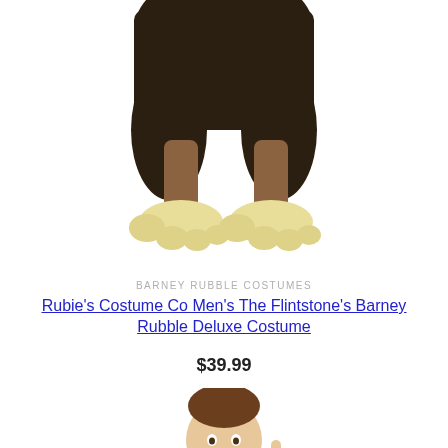[Figure (photo): Bottom half of a Barney Rubble costume showing dark fur-like bottoms and large light yellow prehistoric feet/shoes on a white background]
BARNEY RUBBLE COSTUMES
Rubie's Costume Co Men's The Flintstone's Barney Rubble Deluxe Costume
$39.99
[Figure (photo): Man wearing a brown prehistoric tunic costume with crossed bone design on chest, pointing one finger upward, smiling]